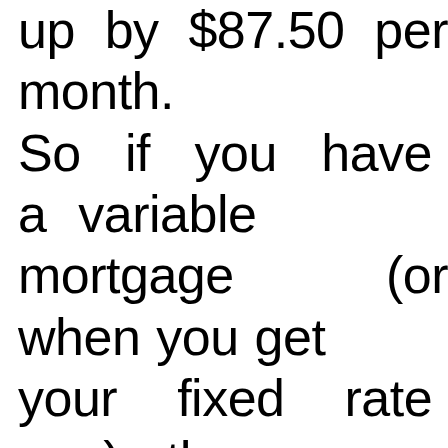up by $87.50 per month. So if you have a variable mortgage (or when you get your fixed rate one), these costs need to be factored in – an extra $87.50/month may not sound like too much, it can look pretty substantial if we see more hikes that are anticipated.